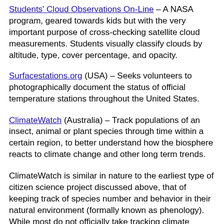Students' Cloud Observations On-Line – A NASA program, geared towards kids but with the very important purpose of cross-checking satellite cloud measurements. Students visually classify clouds by altitude, type, cover percentage, and opacity.
Surfacestations.org (USA) – Seeks volunteers to photographically document the status of official temperature stations throughout the United States.
ClimateWatch (Australia) – Track populations of an insect, animal or plant species through time within a certain region, to better understand how the biosphere reacts to climate change and other long term trends.
ClimateWatch is similar in nature to the earliest type of citizen science project discussed above, that of keeping track of species number and behavior in their natural environment (formally known as phenology). While most do not officially take tracking climate change to be their primary